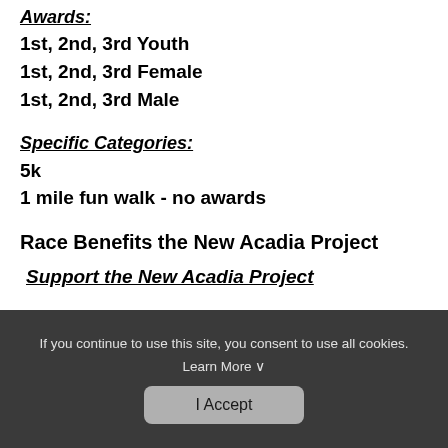Awards:
1st, 2nd, 3rd Youth
1st, 2nd, 3rd Female
1st, 2nd, 3rd Male
Specific Categories:
5k
1 mile fun walk - no awards
Race Benefits the New Acadia Project
Support the New Acadia Project
If you continue to use this site, you consent to use all cookies. Learn More
I Accept